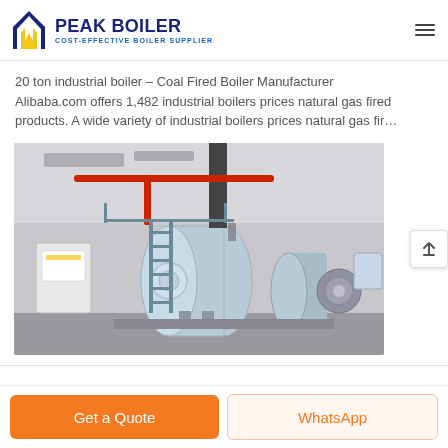PEAK BOILER — COST-EFFECTIVE BOILER SUPPLIER
20 ton industrial boiler – Coal Fired Boiler Manufacturer
Alibaba.com offers 1,482 industrial boilers prices natural gas fired products. A wide variety of industrial boilers prices natural gas fir…
[Figure (photo): Industrial boiler installation in a large warehouse facility showing large cylindrical horizontal fire-tube boilers in light blue/grey color, red piping overhead, metal access stairs/ladder to upper platform, and a control cabinet on the left side.]
Get a Quote
WhatsApp